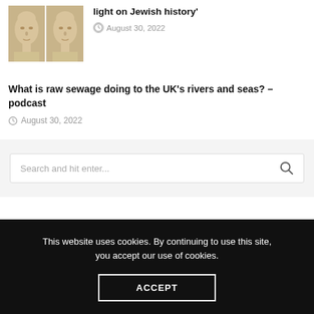[Figure (photo): Two 3D rendered human face models side by side, beige/skin-tone colored]
light on Jewish history'
August 30, 2022
What is raw sewage doing to the UK's rivers and seas? – podcast
August 30, 2022
Search and hit enter...
This website uses cookies. By continuing to use this site, you accept our use of cookies.
ACCEPT